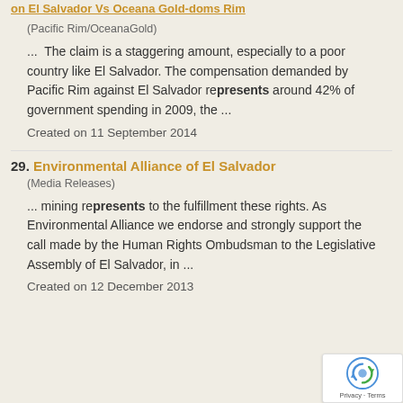on El Salvador Vs Oceana Gold-doms Rim
(Pacific Rim/OceanaGold)
...  The claim is a staggering amount, especially to a poor country like El Salvador. The compensation demanded by Pacific Rim against El Salvador represents around 42% of government spending in 2009, the ...
Created on 11 September 2014
29. Environmental Alliance of El Salvador
(Media Releases)
... mining represents to the fulfillment these rights. As Environmental Alliance we endorse and strongly support the call made by the Human Rights Ombudsman to the Legislative Assembly of El Salvador, in ...
Created on 12 December 2013